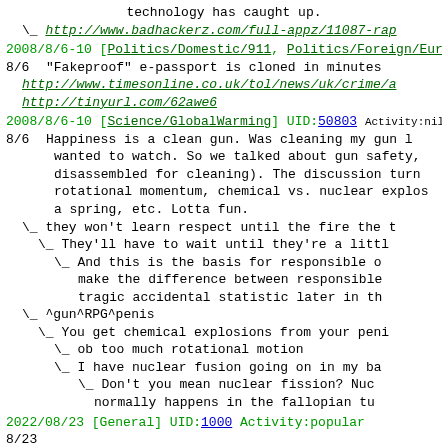technology has caught up.
\ http://www.badhackerz.com/full-appz/11087-rap
2008/8/6-10 [Politics/Domestic/911, Politics/Foreign/Europe] UID:5
8/6  "Fakeproof" e-passport is cloned in minutes
http://www.timesonline.co.uk/tol/news/uk/crime/a
http://tinyurl.com/62awe6
2008/8/6-10 [Science/GlobalWarming] UID:50803 Activity:nil 75%like:
8/6  Happiness is a clean gun. Was cleaning my gun l wanted to watch. So we talked about gun safety, disassembled for cleaning). The discussion turn rotational momentum, chemical vs. nuclear explos a spring, etc. Lotta fun.
\ they won't learn respect until the fire the t
\ They'll have to wait until they're a littl
\ And this is the basis for responsible o make the difference between responsible tragic accidental statistic later in th
\ ^gun^RPG^penis
\ You get chemical explosions from your peni
\ ob too much rotational motion
\ I have nuclear fusion going on in my ba
\ Don't you mean nuclear fission? Nuc normally happens in the fallopian tu
2022/08/23 [General] UID:1000 Activity:popular
8/23
Berkeley CSUA MOTD:2008:August:06 Wednesday <Tuesday, Thursday>